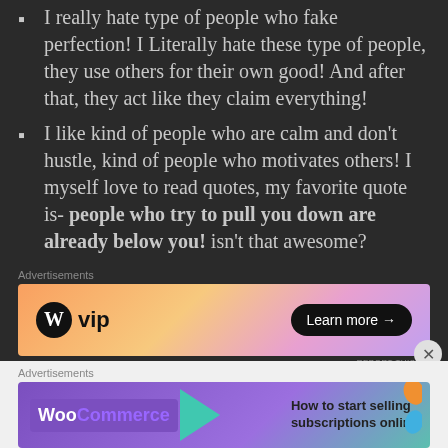I really hate type of people who fake perfection! I Literally hate these type of people, they use others for their own good! And after that, they act like they claim everything!
I like kind of people who are calm and don't hustle, kind of people who motivates others! I myself love to read quotes, my favorite quote is- people who try to pull you down are already below you! isn't that awesome?
[Figure (other): WordPress VIP advertisement banner with gradient orange/pink background, WP logo, VIP text, and Learn more button]
My question- once an enemy, always an enemy
[Figure (other): WooCommerce advertisement banner with purple background, How to start selling subscriptions online]